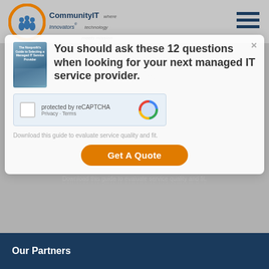[Figure (logo): CommunityIT Innovators logo with circular graphic and tagline 'where technology meets mission']
[Figure (screenshot): Modal overlay popup on a website showing a book thumbnail, headline text, reCAPTCHA widget, and Get A Quote button]
You should ask these 12 questions when looking for your next managed IT service provider.
Not all MSP's are equipped with the experience to serve nonprofits.
Download this guide to evaluate service quality and fit.
Get A Quote
Our Partners